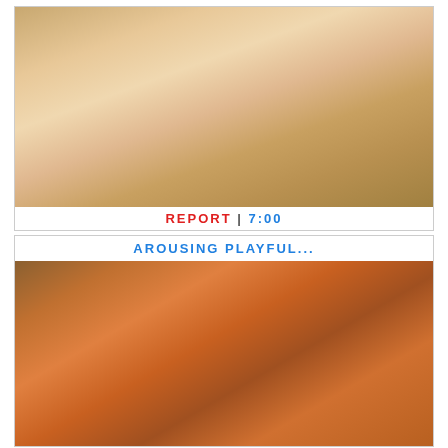[Figure (photo): Thumbnail image from video content, first card]
REPORT | 7:00
AROUSING PLAYFUL...
[Figure (photo): Thumbnail image from video content, second card]